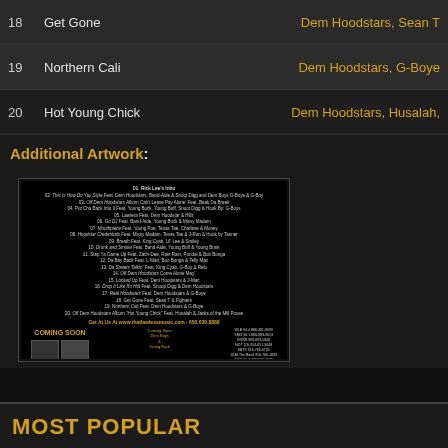18  Get Gone  Dem Hoodstars, Sean T
19  Northern Cali  Dem Hoodstars, G-Boye
20  Hot Young Chick  Dem Hoodstars, Husalah,
Additional Artwork:
[Figure (photo): Album back cover artwork for Dem Hoodstars showing track listing, radio station contacts, coming soon section with artist photos, and logos. Website: www.thatlawlessmusic.com, phone: 650.630.8889]
MOST POPULAR